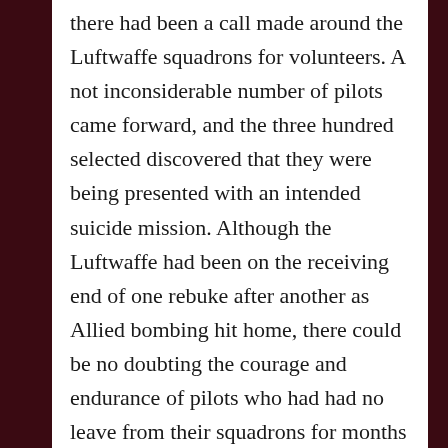there had been a call made around the Luftwaffe squadrons for volunteers. A not inconsiderable number of pilots came forward, and the three hundred selected discovered that they were being presented with an intended suicide mission. Although the Luftwaffe had been on the receiving end of one rebuke after another as Allied bombing hit home, there could be no doubting the courage and endurance of pilots who had had no leave from their squadrons for months at a time. The mission itself was intended, alongside its military objective, as a statement of German resolve, though it was also an admission that the Luftwaffe was totally incapable of resisting the bombing of German cities by any orthodox means.